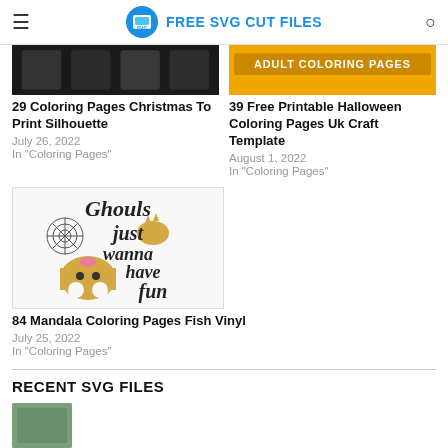FREE SVG CUT FILES
[Figure (photo): Partial top of coloring page Christmas silhouette image (dark/black tones)]
29 Coloring Pages Christmas To Print Silhouette
July 26, 2022
In "Coloring Pages"
[Figure (photo): Adult Coloring Pages banner with orange background]
39 Free Printable Halloween Coloring Pages Uk Craft Template
August 1, 2022
In "Coloring Pages"
[Figure (illustration): Ghouls just wanna have fun - ghost and spider web illustration]
84 Mandala Coloring Pages Fish Vinyl
July 25, 2022
In "Coloring Pages"
RECENT SVG FILES
[Figure (photo): Partial thumbnail of recent SVG file]